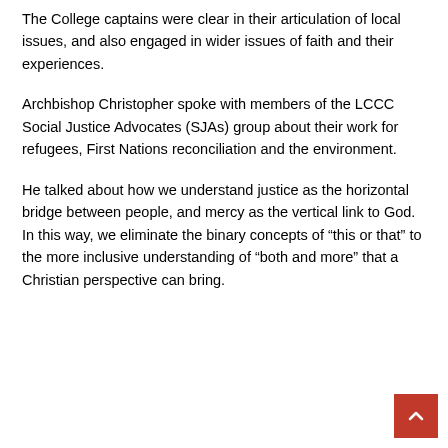The College captains were clear in their articulation of local issues, and also engaged in wider issues of faith and their experiences.
Archbishop Christopher spoke with members of the LCCC Social Justice Advocates (SJAs) group about their work for refugees, First Nations reconciliation and the environment.
He talked about how we understand justice as the horizontal bridge between people, and mercy as the vertical link to God. In this way, we eliminate the binary concepts of “this or that” to the more inclusive understanding of “both and more” that a Christian perspective can bring.